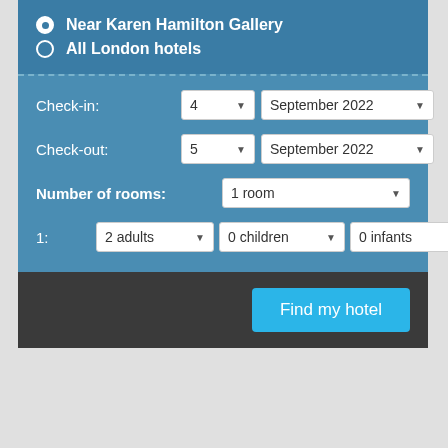Near Karen Hamilton Gallery
All London hotels
Check-in: 4 September 2022
Check-out: 5 September 2022
Number of rooms: 1 room
1: 2 adults 0 children 0 infants
Find my hotel